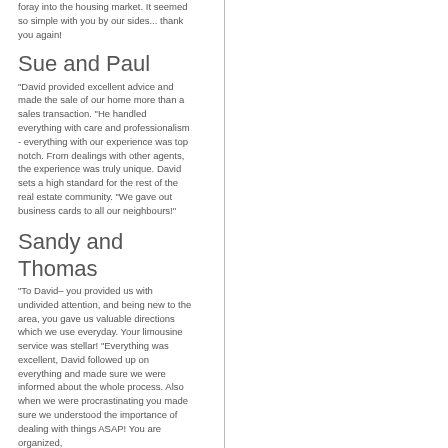foray into the housing market. It seemed so simple with you by our sides... thank you again!
Sue and Paul
"David provided excellent advice and made the sale of our home more than a sales transaction. "He handled everything with care and professionalism - everything with our experience was top notch. From dealings with other agents, the experience was truly unique. David sets a high standard for the rest of the real estate community. "We gave out business cards to all our neighbours!"
Sandy and Thomas
"To David– you provided us with undivided attention, and being new to the area, you gave us valuable directions which we use everyday. Your limousine service was stellar! "Everything was excellent, David followed up on everything and made sure we were informed about the whole process. Also when we were procrastinating you made sure we understood the importance of dealing with things ASAP! You are organized,